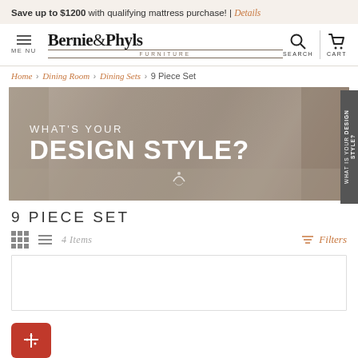Save up to $1200 with qualifying mattress purchase! | Details
[Figure (logo): Bernie & Phyl's Furniture logo with navigation icons for MENU, SEARCH, and CART]
Home > Dining Room > Dining Sets > 9 Piece Set
[Figure (photo): Banner image with text 'WHAT'S YOUR DESIGN STYLE?' overlaid on a soft bedroom/dining room background]
9 PIECE SET
4 Items  Filters
[Figure (photo): Product listing card area (partially visible)]